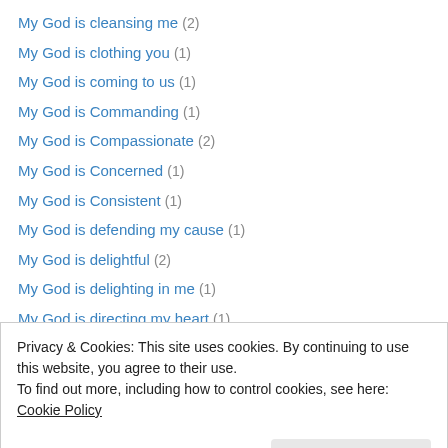My God is cleansing me (2)
My God is clothing you (1)
My God is coming to us (1)
My God is Commanding (1)
My God is Compassionate (2)
My God is Concerned (1)
My God is Consistent (1)
My God is defending my cause (1)
My God is delightful (2)
My God is delighting in me (1)
My God is directing my heart (1)
My God is disciplining (1)
My God is drawing me up from a desolate pit (1)
Privacy & Cookies: This site uses cookies. By continuing to use this website, you agree to their use. To find out more, including how to control cookies, see here: Cookie Policy
Advertisements